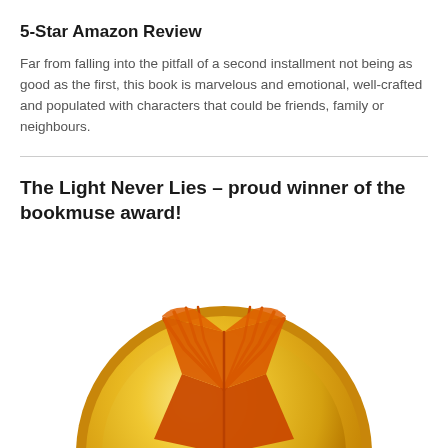5-Star Amazon Review
Far from falling into the pitfall of a second installment not being as good as the first, this book is marvelous and emotional, well-crafted and populated with characters that could be friends, family or neighbours.
The Light Never Lies – proud winner of the bookmuse award!
[Figure (illustration): Gold medal/badge featuring an open book icon in orange/red on a gold circular medal with a darker gold rim, partially cropped at the bottom of the page.]